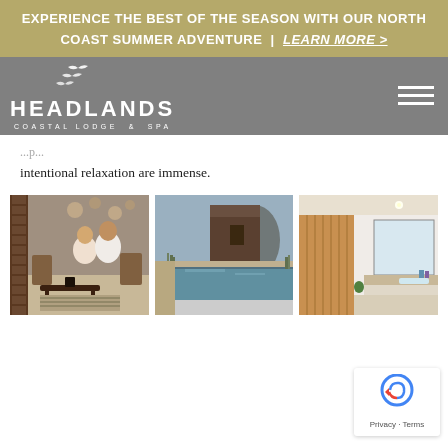EXPERIENCE THE BEST OF THE SEASON WITH OUR NORTH COAST SUMMER ADVENTURE | LEARN MORE >
[Figure (logo): Headlands Coastal Lodge & Spa logo with seagull illustration on gray navigation bar with hamburger menu]
intentional relaxation are immense.
[Figure (photo): Three photos side by side: couple in white robes seated in spa lounge, outdoor pool/hot tub with coastal view, luxury bathroom with wood paneling]
Privacy · Terms